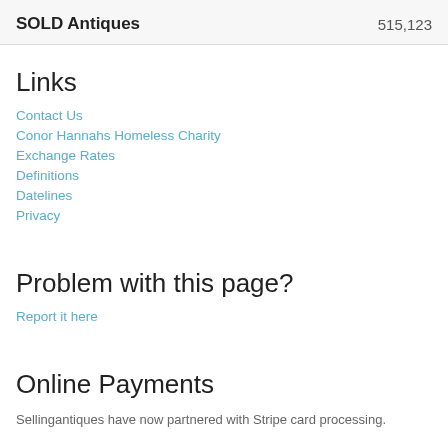SOLD Antiques   515,123
Links
Contact Us
Conor Hannahs Homeless Charity
Exchange Rates
Definitions
Datelines
Privacy
Problem with this page?
Report it here
Online Payments
Sellingantiques have now partnered with Stripe card processing.